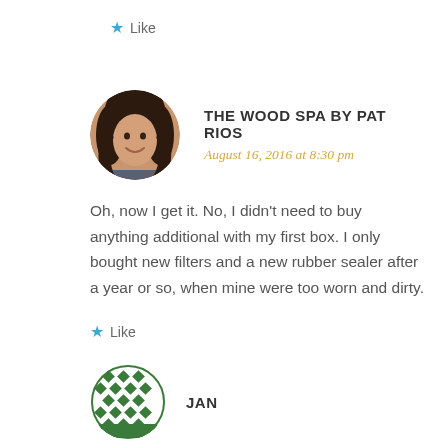★ Like
THE WOOD SPA BY PAT RIOS
August 16, 2016 at 8:30 pm
Oh, now I get it. No, I didn't need to buy anything additional with my first box. I only bought new filters and a new rubber sealer after a year or so, when mine were too worn and dirty.
★ Like
JAN